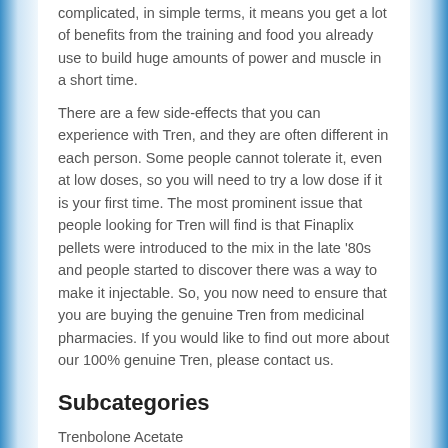complicated, in simple terms, it means you get a lot of benefits from the training and food you already use to build huge amounts of power and muscle in a short time.
There are a few side-effects that you can experience with Tren, and they are often different in each person. Some people cannot tolerate it, even at low doses, so you will need to try a low dose if it is your first time. The most prominent issue that people looking for Tren will find is that Finaplix pellets were introduced to the mix in the late '80s and people started to discover there was a way to make it injectable. So, you now need to ensure that you are buying the genuine Tren from medicinal pharmacies. If you would like to find out more about our 100% genuine Tren, please contact us.
Subcategories
Trenbolone Acetate
Trenbolone Enanthate